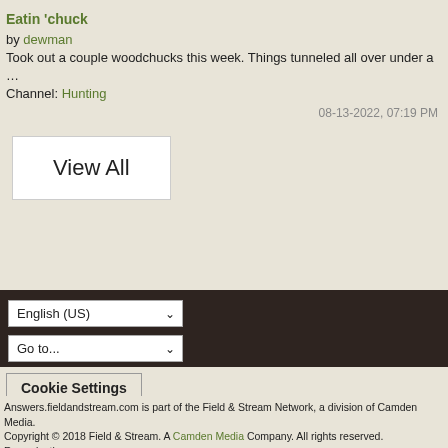Eatin 'chuck
by dewman
Took out a couple woodchucks this week. Things tunneled all over under a …
Channel: Hunting
08-13-2022, 07:19 PM
View All
English (US) ✓
Go to...
Cookie Settings
Answers.fieldandstream.com is part of the Field & Stream Network, a division of Camden Media. Copyright © 2018 Field & Stream. A Camden Media Company. All rights reserved. Reproduction in whole or in part without permission is prohibited.

Powered by vBulletin® Version 5.6.9
Copyright © 2022 vBulletin Solutions, Inc. All rights reserved.
All times are GMT-5. This page was generated at 08:50 AM.